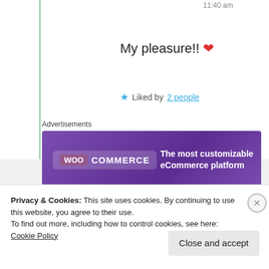11:40 am
My pleasure!! ❤
★ Liked by 2 people
Advertisements
[Figure (other): WooCommerce advertisement banner: purple background, WooCommerce logo on left, text 'The most customizable eCommerce platform' on right]
REPORT THIS AD
KK
1st Jul 2021 at 12:50 pm
Privacy & Cookies: This site uses cookies. By continuing to use this website, you agree to their use.
To find out more, including how to control cookies, see here: Cookie Policy
Close and accept